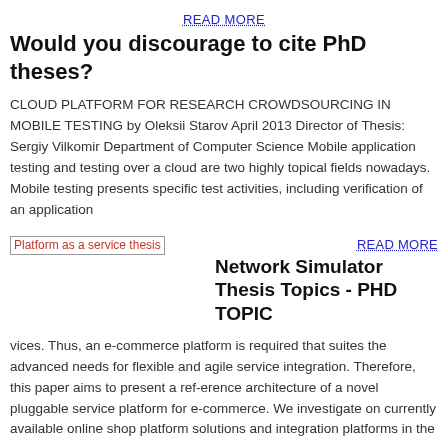READ MORE
Would you discourage to cite PhD theses?
CLOUD PLATFORM FOR RESEARCH CROWDSOURCING IN MOBILE TESTING by Oleksii Starov April 2013 Director of Thesis: Sergiy Vilkomir Department of Computer Science Mobile application testing and testing over a cloud are two highly topical fields nowadays. Mobile testing presents specific test activities, including verification of an application
[Figure (photo): Broken image placeholder labeled 'Platform as a service thesis']
READ MORE
Network Simulator Thesis Topics - PHD TOPIC
vices. Thus, an e-commerce platform is required that suites the advanced needs for flexible and agile service integration. Therefore, this paper aims to present a ref-erence architecture of a novel pluggable service platform for e-commerce. We investigate on currently available online shop platform solutions and integration platforms in the